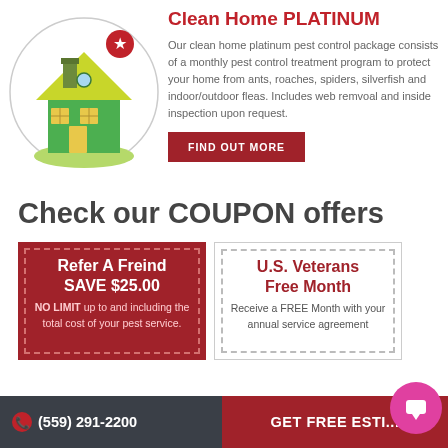[Figure (illustration): Green cartoon house with yellow roof inside a circle, with a red star badge at top right]
Clean Home PLATINUM
Our clean home platinum pest control package consists of a monthly pest control treatment program to protect your home from ants, roaches, spiders, silverfish and indoor/outdoor fleas. Includes web remvoal and inside inspection upon request.
FIND OUT MORE
Check our COUPON offers
Refer A Freind SAVE $25.00 NO LIMIT up to and including the total cost of your pest service.
U.S. Veterans Free Month Receive a FREE Month with your annual service agreement
(559) 291-2200   GET FREE ESTI...